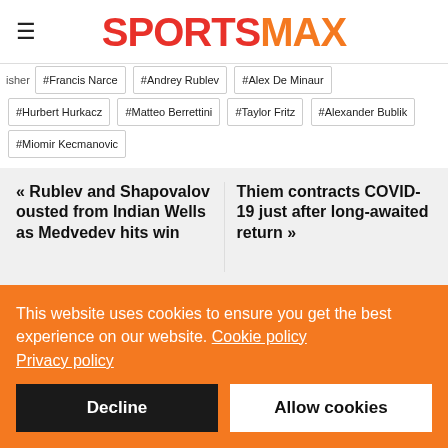SPORTSMAX
#Hurbert Hurkacz #Matteo Berrettini #Taylor Fritz #Alexander Bublik #Miomir Kecmanovic
« Rublev and Shapovalov ousted from Indian Wells as Medvedev hits win
Thiem contracts COVID-19 just after long-awaited return »
This website uses cookies to ensure you get the best experience on our website. Cookie policy Privacy policy
Decline
Allow cookies